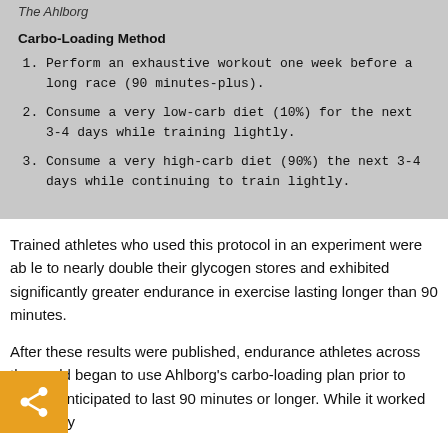The Ahlborg
Carbo-Loading Method
Perform an exhaustive workout one week before a long race (90 minutes-plus).
Consume a very low-carb diet (10%) for the next 3-4 days while training lightly.
Consume a very high-carb diet (90%) the next 3-4 days while continuing to train lightly.
Trained athletes who used this protocol in an experiment were able to nearly double their glycogen stores and exhibited significantly greater endurance in exercise lasting longer than 90 minutes.
After these results were published, endurance athletes across the world began to use Ahlborg's carbo-loading plan prior to events anticipated to last 90 minutes or longer. While it worked admirably